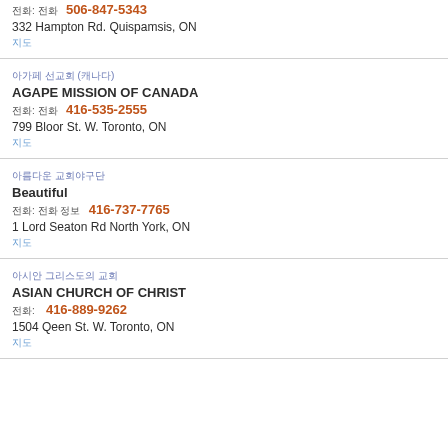전화: 전화 506-847-5343
332 Hampton Rd. Quispamsis, ON
지도
아가페 선교회 (캐나다)
AGAPE MISSION OF CANADA
전화: 전화 416-535-2555
799 Bloor St. W. Toronto, ON
지도
아름다운 교회야구단
Beautiful
전화: 전화 정보 416-737-7765
1 Lord Seaton Rd North York, ON
지도
아시안 그리스도의 교회
ASIAN CHURCH OF CHRIST
전화: 416-889-9262
1504 Qeen St. W. Toronto, ON
지도